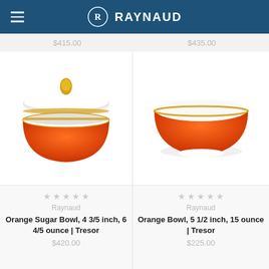RAYNAUD
$415.00    $435.00
[Figure (photo): Orange sugar bowl with white lid and gold handle knob, orange textured body with gold trim, Raynaud Tresor collection]
[Figure (photo): Orange bowl with white interior and gold rim, orange textured body, Raynaud Tresor collection]
Raynaud
Orange Sugar Bowl, 4 3/5 inch, 6 4/5 ounce | Tresor
$420.00
Raynaud
Orange Bowl, 5 1/2 inch, 15 ounce | Tresor
$225.00